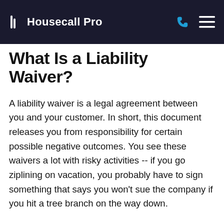Housecall Pro
What Is a Liability Waiver?
A liability waiver is a legal agreement between you and your customer. In short, this document releases you from responsibility for certain possible negative outcomes. You see these waivers a lot with risky activities -- if you go ziplining on vacation, you probably have to sign something that says you won't sue the company if you hit a tree branch on the way down.
When it comes to home services, a liability waiver does a few things. First, it can ask the customer to